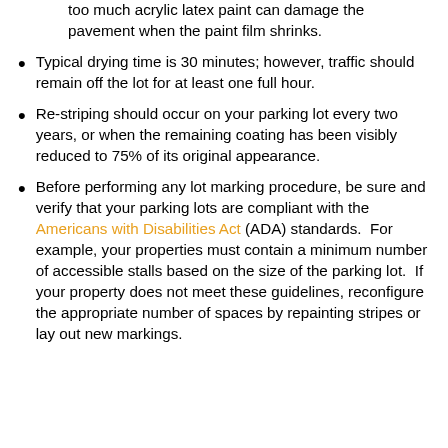too much acrylic latex paint can damage the pavement when the paint film shrinks.
Typical drying time is 30 minutes; however, traffic should remain off the lot for at least one full hour.
Re-striping should occur on your parking lot every two years, or when the remaining coating has been visibly reduced to 75% of its original appearance.
Before performing any lot marking procedure, be sure and verify that your parking lots are compliant with the Americans with Disabilities Act (ADA) standards.  For example, your properties must contain a minimum number of accessible stalls based on the size of the parking lot.  If your property does not meet these guidelines, reconfigure the appropriate number of spaces by repainting stripes or lay out new markings.